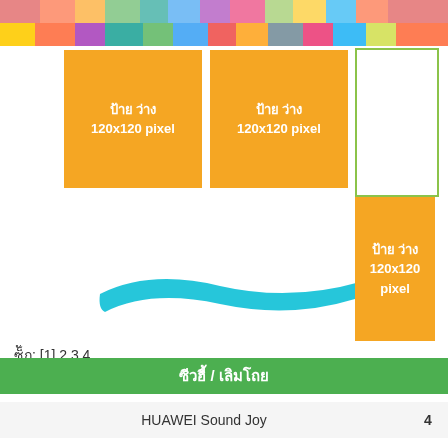[Figure (illustration): Colorful mosaic/paint splash banner at top of page]
[Figure (other): Orange ad placeholder box 1 - ป้าย ว่าง 120x120 pixel]
[Figure (other): Orange ad placeholder box 2 - ป้าย ว่าง 120x120 pixel]
[Figure (other): White outlined box (empty ad placeholder)]
[Figure (other): Cyan/turquoise paint brush stroke illustration]
[Figure (other): Orange ad placeholder box 3 - ป้าย ว่าง 120x120 pixel]
ซ็ัก: [1] 2 3 4
ซีวฮี้ / เลิมโถย
HUAWEI Sound Joy    4